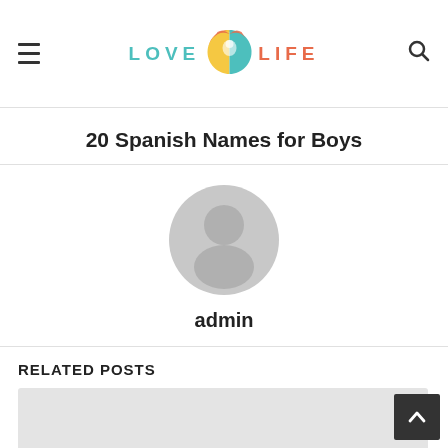LOVE LIFE (logo with icon)
20 Spanish Names for Boys
[Figure (illustration): Generic grey user avatar (circle head and shoulders silhouette)]
admin
RELATED POSTS
[Figure (photo): Related post image placeholder (light grey rectangle, partially visible)]